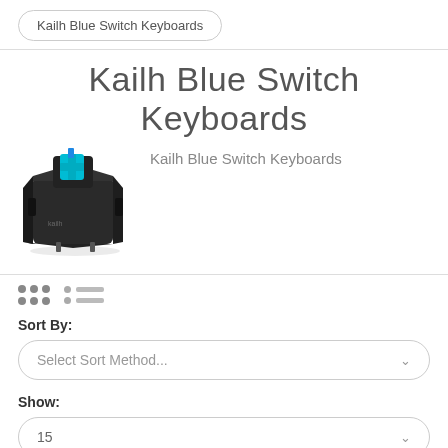Kailh Blue Switch Keyboards
Kailh Blue Switch Keyboards
Kailh Blue Switch Keyboards
[Figure (photo): Photo of a Kailh Blue mechanical keyboard switch — a black housing with a cyan/blue stem]
Sort By:
Select Sort Method...
Show:
15